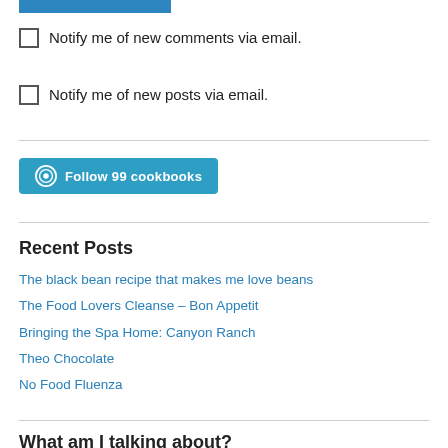[Figure (other): Blue horizontal bar at top of page]
Notify me of new comments via email.
Notify me of new posts via email.
[Figure (other): WordPress Follow button: Follow 99 cookbooks]
Recent Posts
The black bean recipe that makes me love beans
The Food Lovers Cleanse – Bon Appetit
Bringing the Spa Home: Canyon Ranch
Theo Chocolate
No Food Fluenza
What am I talking about?